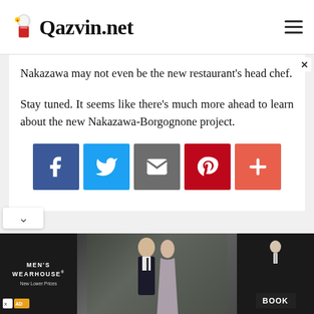Qazvin.net
Nakazawa may not even be the new restaurant's head chef.
Stay tuned. It seems like there's much more ahead to learn about the new Nakazawa-Borgognone project.
[Figure (infographic): Social share buttons: Facebook (blue), Twitter (light blue), Email (gray), Pinterest (red), Plus/more (orange-red)]
[Figure (photo): Men's Wearhouse advertisement showing a couple dressed formally, with a man in a tuxedo and a woman in an evening gown. Text reads MEN'S WEARHOUSE New Lower Prices. Book button on the right.]